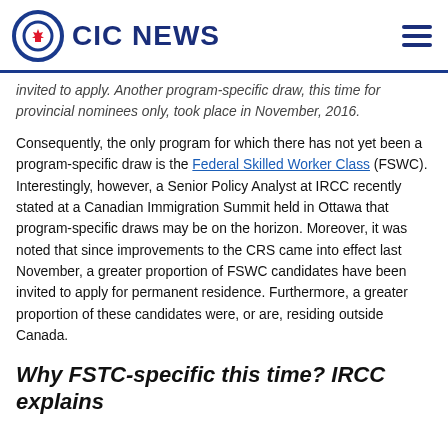CIC NEWS
invited to apply. Another program-specific draw, this time for provincial nominees only, took place in November, 2016.
Consequently, the only program for which there has not yet been a program-specific draw is the Federal Skilled Worker Class (FSWC). Interestingly, however, a Senior Policy Analyst at IRCC recently stated at a Canadian Immigration Summit held in Ottawa that program-specific draws may be on the horizon. Moreover, it was noted that since improvements to the CRS came into effect last November, a greater proportion of FSWC candidates have been invited to apply for permanent residence. Furthermore, a greater proportion of these candidates were, or are, residing outside Canada.
Why FSTC-specific this time? IRCC explains